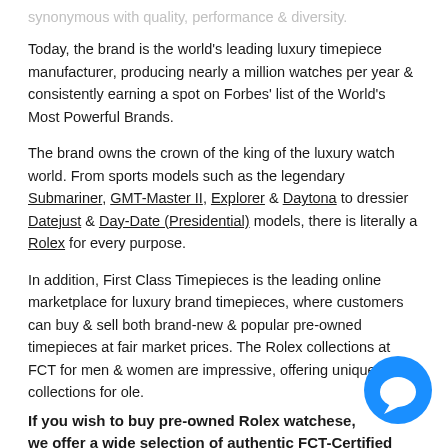synonymous with quality, performance & diversity.
Today, the brand is the world's leading luxury timepiece manufacturer, producing nearly a million watches per year & consistently earning a spot on Forbes' list of the World's Most Powerful Brands.
The brand owns the crown of the king of the luxury watch world. From sports models such as the legendary Submariner, GMT-Master II, Explorer & Daytona to dressier Datejust & Day-Date (Presidential) models, there is literally a Rolex for every purpose.
In addition, First Class Timepieces is the leading online marketplace for luxury brand timepieces, where customers can buy & sell both brand-new & popular pre-owned timepieces at fair market prices. The Rolex collections at FCT for men & women are impressive, offering unique collections for o●●le.
If you wish to buy pre-owned Rolex watches ●●e, we offer a wide selection of authentic FCT-Certified